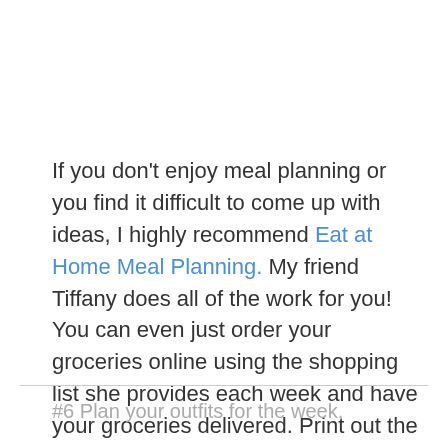If you don't enjoy meal planning or you find it difficult to come up with ideas, I highly recommend Eat at Home Meal Planning. My friend Tiffany does all of the work for you! You can even just order your groceries online using the shopping list she provides each week and have your groceries delivered. Print out the menu and you're done. All you need to do is go in the kitchen and cook up a delicious but simple meal!
#6 Plan your outfits for the week.